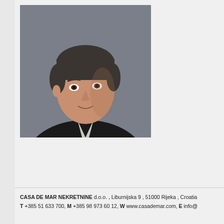[Figure (photo): Professional headshot of a middle-aged man with dark hair, wearing a black jacket, looking over his shoulder against a grey background.]
CASA DE MAR NEKRETNINE d.o.o. , Liburnijska 9 , 51000 Rijeka , Croatia
T +385 51 633 700, M +385 98 973 60 12, W www.casademar.com, E info@